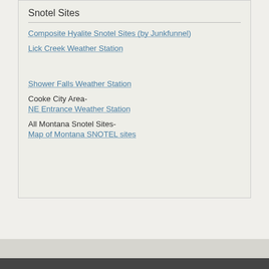Snotel Sites
Composite Hyalite Snotel Sites (by Junkfunnel)
Lick Creek Weather Station
Shower Falls Weather Station
Cooke City Area-
NE Entrance Weather Station
All Montana Snotel Sites-
Map of Montana SNOTEL sites